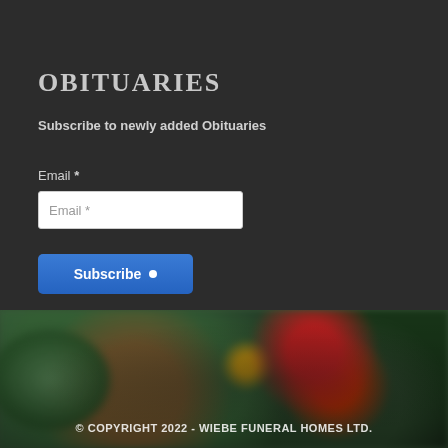OBITUARIES
Subscribe to newly added Obituaries
Email *
[Figure (screenshot): Email input form field with placeholder text 'Email *' and a blue Subscribe button with a dot/arrow icon]
[Figure (photo): Blurred background photo of green plants and red/yellow flowers with a curved bow shape on the left side]
© COPYRIGHT 2022 - WIEBE FUNERAL HOMES LTD.